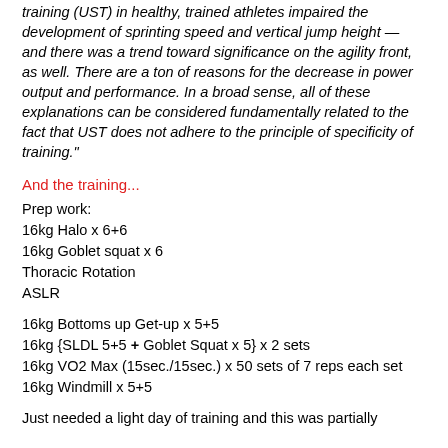training (UST) in healthy, trained athletes impaired the development of sprinting speed and vertical jump height — and there was a trend toward significance on the agility front, as well. There are a ton of reasons for the decrease in power output and performance. In a broad sense, all of these explanations can be considered fundamentally related to the fact that UST does not adhere to the principle of specificity of training."
And the training...
Prep work:
16kg Halo x 6+6
16kg Goblet squat x 6
Thoracic Rotation
ASLR
16kg Bottoms up Get-up x 5+5
16kg {SLDL 5+5 + Goblet Squat x 5} x 2 sets
16kg VO2 Max (15sec./15sec.) x 50 sets of 7 reps each set
16kg Windmill x 5+5
Just needed a light day of training and this was partially